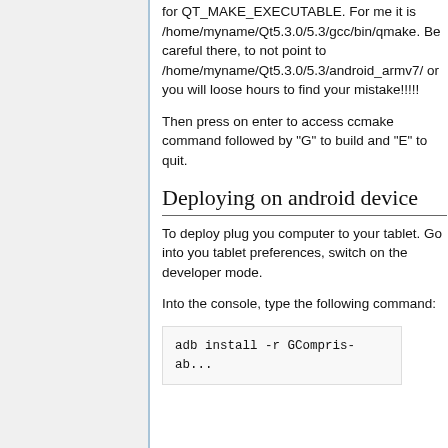for QT_MAKE_EXECUTABLE. For me it is /home/myname/Qt5.3.0/5.3/gcc/bin/qmake. Be careful there, to not point to /home/myname/Qt5.3.0/5.3/android_armv7/ or you will loose hours to find your mistake!!!!!
Then press on enter to access ccmake command followed by "G" to build and "E" to quit.
Deploying on android device
To deploy plug you computer to your tablet. Go into you tablet preferences, switch on the developer mode.
Into the console, type the following command:
adb install -r GCompris-